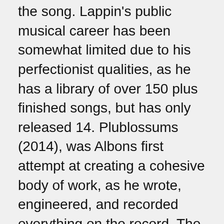the song. Lappin's public musical career has been somewhat limited due to his perfectionist qualities, as he has a library of over 150 plus finished songs, but has only released 14. Plublossums (2014), was Albons first attempt at creating a cohesive body of work, as he wrote, engineered, and recorded everything on the record. The album was eventually picked up by LA tape label Hellhole Supermarket.
Clearly, leaps and bounds have been made as Albon's new EP, Dream Weaver/Be Keeper, embraces space when necessary yet allows for bursts of dense sonic compositions to enlighten the listeners experience, driven by sincerity, exploration, and heavy pop hooks. The songs are embellished by myriad of orchestral instruments and interesting pop production techniques such as pitch shifted vocals and soaring harmonies. The EP was recorded at Tropico Beauty, a studio created by LA's native Hartunian brothers which opened one year ago, but has none the less hosted acts such as Devendra Banhart, Alex Bleaker (Real Estate), and Florist